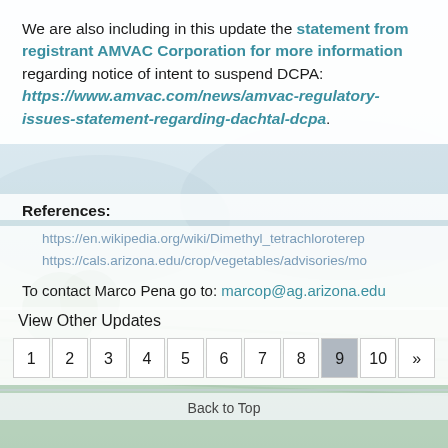We are also including in this update the statement from registrant AMVAC Corporation for more information regarding notice of intent to suspend DCPA: https://www.amvac.com/news/amvac-regulatory-issues-statement-regarding-dachtal-dcpa.
References:
https://en.wikipedia.org/wiki/Dimethyl_tetrachlorotere...
https://cals.arizona.edu/crop/vegetables/advisories/mo...
To contact Marco Pena go to: marcop@ag.arizona.edu
View Other Updates
Pagination: 1 2 3 4 5 6 7 8 9 (active) 10 »
Back to Top